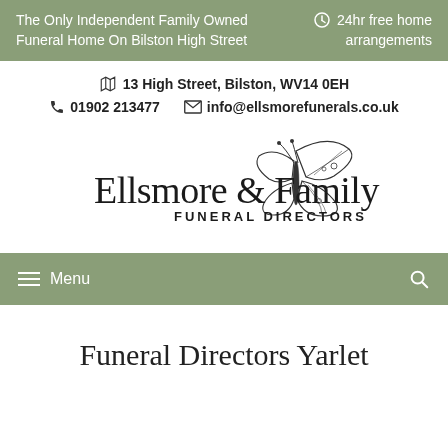The Only Independent Family Owned Funeral Home On Bilston High Street | 24hr free home arrangements
13 High Street, Bilston, WV14 0EH
01902 213477   info@ellsmorefunerals.co.uk
[Figure (logo): Ellsmore & Family Funeral Directors logo with butterfly illustration]
Menu
Funeral Directors Yarlet